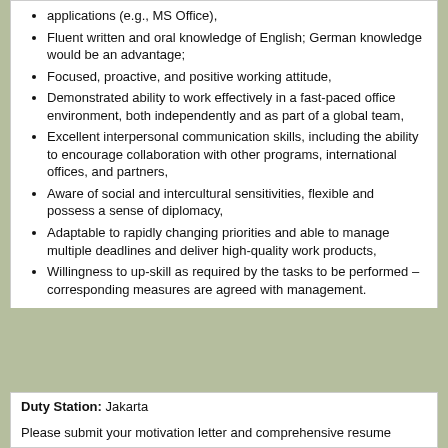applications (e.g., MS Office),
Fluent written and oral knowledge of English; German knowledge would be an advantage;
Focused, proactive, and positive working attitude,
Demonstrated ability to work effectively in a fast-paced office environment, both independently and as part of a global team,
Excellent interpersonal communication skills, including the ability to encourage collaboration with other programs, international offices, and partners,
Aware of social and intercultural sensitivities, flexible and possess a sense of diplomacy,
Adaptable to rapidly changing priorities and able to manage multiple deadlines and deliver high-quality work products,
Willingness to up-skill as required by the tasks to be performed – corresponding measures are agreed with management.
Duty Station: Jakarta
Joining Date: a.s.a.p.
Direct Supervisor: Principal Advisor of SUTRI NAMA & INDOBUS
Please submit your motivation letter and comprehensive resume